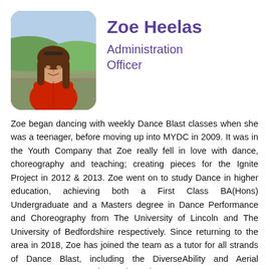[Figure (photo): Portrait photo of Zoe Heelas, a young woman with long brown hair, wearing a red jacket, outdoors with green hills and stone wall in background.]
Zoe Heelas
Administration Officer
Zoe began dancing with weekly Dance Blast classes when she was a teenager, before moving up into MYDC in 2009. It was in the Youth Company that Zoe really fell in love with dance, choreography and teaching; creating pieces for the Ignite Project in 2012 & 2013. Zoe went on to study Dance in higher education, achieving both a First Class BA(Hons) Undergraduate and a Masters degree in Dance Performance and Choreography from The University of Lincoln and The University of Bedfordshire respectively. Since returning to the area in 2018, Zoe has joined the team as a tutor for all strands of Dance Blast, including the DiverseAbility and Aerial programs. Most recently, Zoe has taken over as